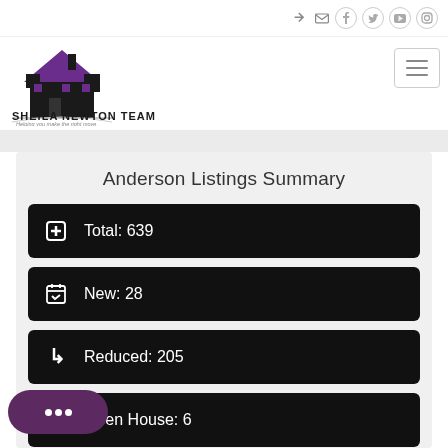[Figure (logo): Sheila Newton Team logo — purple house silhouette with tagline 'Helping you make the right move']
Anderson Listings Summary
Total: 639
New: 28
Reduced: 205
Open House: 6